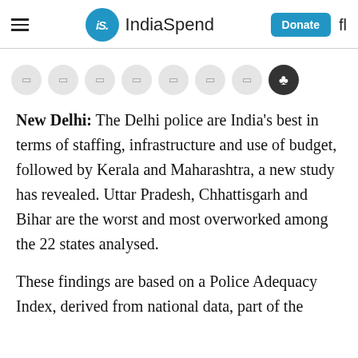IndiaSpend
[Figure (other): Row of social media sharing icon buttons (circular grey buttons with small icons, plus one dark button)]
New Delhi: The Delhi police are India's best in terms of staffing, infrastructure and use of budget, followed by Kerala and Maharashtra, a new study has revealed. Uttar Pradesh, Chhattisgarh and Bihar are the worst and most overworked among the 22 states analysed.
These findings are based on a Police Adequacy Index, derived from national data, part of the